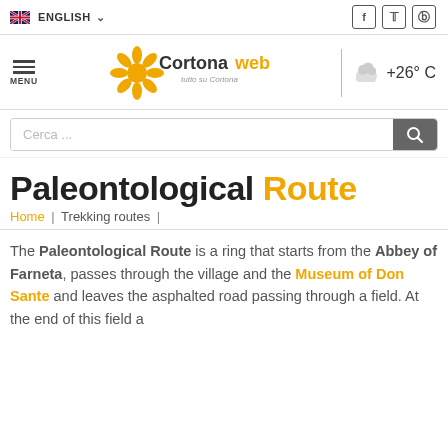ENGLISH | Social icons: Facebook, Twitter, Instagram
[Figure (logo): Cortonaweb logo with sunflower icon and tagline 'tutto su Cortona', weather showing +26° C with cloud icon]
Cerca ...
Paleontological Route
Home | Trekking routes |
The Paleontological Route is a ring that starts from the Abbey of Farneta, passes through the village and the Museum of Don Sante and leaves the asphalted road passing through a field. At the end of this field a